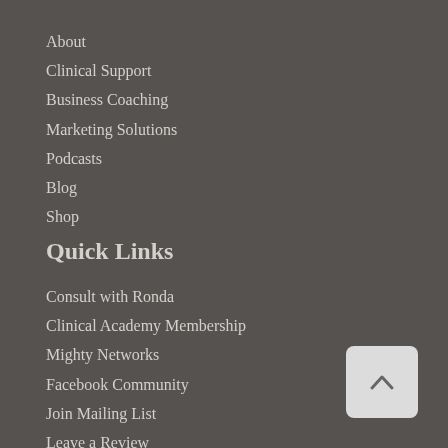About
Clinical Support
Business Coaching
Marketing Solutions
Podcasts
Blog
Shop
Quick Links
Consult with Ronda
Clinical Academy Membership
Mighty Networks
Facebook Community
Join Mailing List
Leave a Review
[Figure (other): Back to top button with upward chevron arrow on light gray rounded square background]